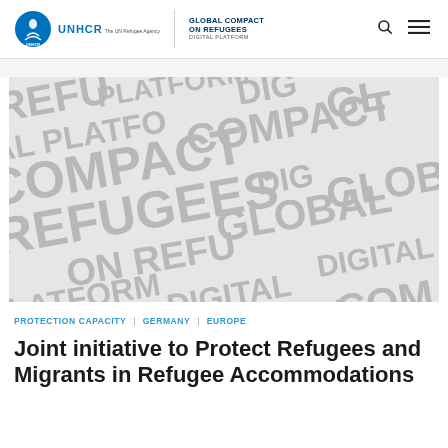UNHCR | GLOBAL COMPACT ON REFUGEES DIGITAL PLATFORM
[Figure (illustration): Decorative background image with repeating text words: REFUGEES, GLOBAL, COMPACT, PLATFORM, DIGITAL in large grey capital letters on a light grey background, arranged at various angles.]
PROTECTION CAPACITY | GERMANY | EUROPE
Joint initiative to Protect Refugees and Migrants in Refugee Accommodations